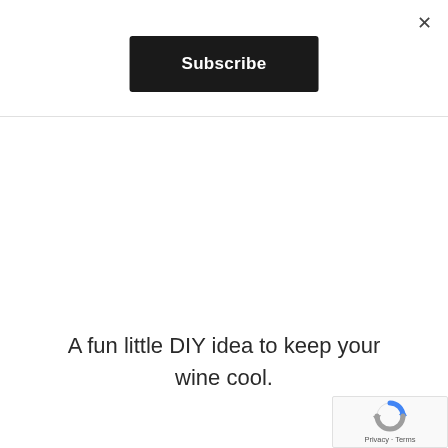×
Subscribe
A fun little DIY idea to keep your wine cool.
[Figure (logo): reCAPTCHA logo with Privacy and Terms text]